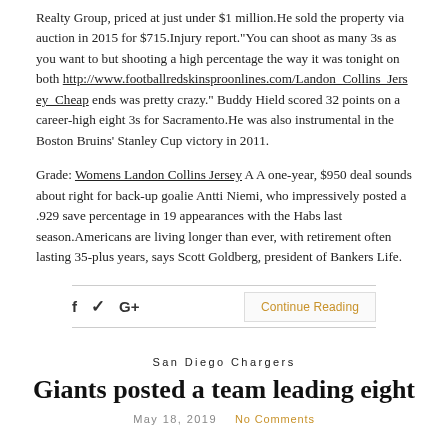Realty Group, priced at just under $1 million.He sold the property via auction in 2015 for $715.Injury report."You can shoot as many 3s as you want to but shooting a high percentage the way it was tonight on both http://www.footballredskinsproonlines.com/Landon_Collins_Jersey_Cheap ends was pretty crazy." Buddy Hield scored 32 points on a career-high eight 3s for Sacramento.He was also instrumental in the Boston Bruins' Stanley Cup victory in 2011.
Grade: Womens Landon Collins Jersey A A one-year, $950 deal sounds about right for back-up goalie Antti Niemi, who impressively posted a .929 save percentage in 19 appearances with the Habs last season.Americans are living longer than ever, with retirement often lasting 35-plus years, says Scott Goldberg, president of Bankers Life.
f  ✓  G+   Continue Reading
San Diego Chargers
Giants posted a team leading eight
May 18, 2019   No Comments